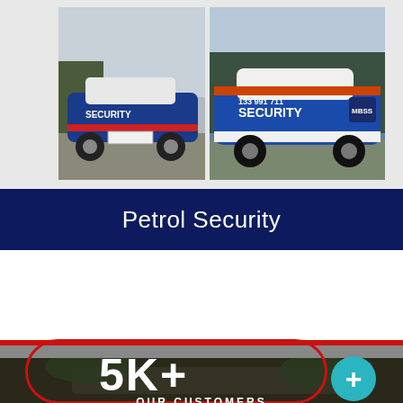[Figure (photo): Two photos of MBSS Security branded patrol cars. Left: rear view of a blue and white car with 'SECURITY' branding. Right: side view of a blue, red and white Hyundai with '133 991 711 SECURITY MBSS' livery.]
Petrol Security
[Figure (photo): Dark background photo of a car in a driveway/garden setting with large white bold text '5K+' and a teal circle with '+' symbol, and text 'OUR CUSTOMERS' below.]